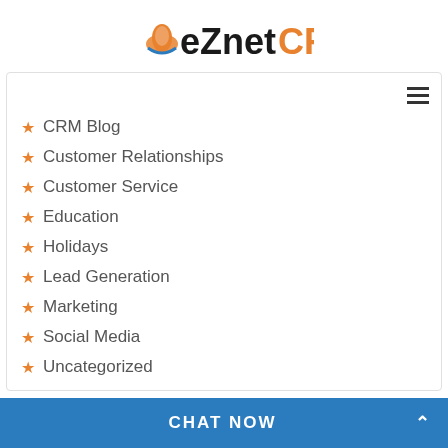[Figure (logo): eZnetCRM logo with orange circle icon and text 'eZnet' in dark and 'CRM' in orange]
CRM Blog
Customer Relationships
Customer Service
Education
Holidays
Lead Generation
Marketing
Social Media
Uncategorized
TAGS
B2B B2B CRM B2C benefits of crm cheap crm Cloud-based CRM cloud crm C...